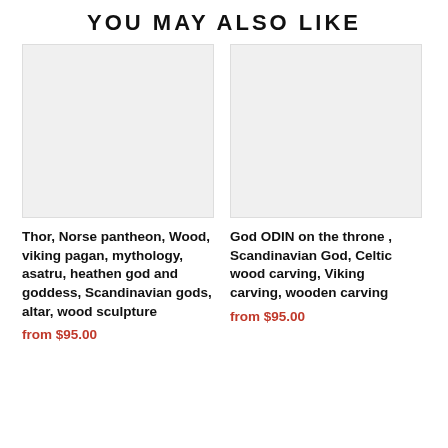YOU MAY ALSO LIKE
[Figure (photo): Product image placeholder (light gray rectangle) for Thor Norse pantheon wood sculpture]
Thor, Norse pantheon, Wood, viking pagan, mythology, asatru, heathen god and goddess, Scandinavian gods, altar, wood sculpture
from $95.00
[Figure (photo): Product image placeholder (light gray rectangle) for God ODIN on the throne Scandinavian God Celtic wood carving]
God ODIN on the throne , Scandinavian God, Celtic wood carving, Viking carving, wooden carving
from $95.00